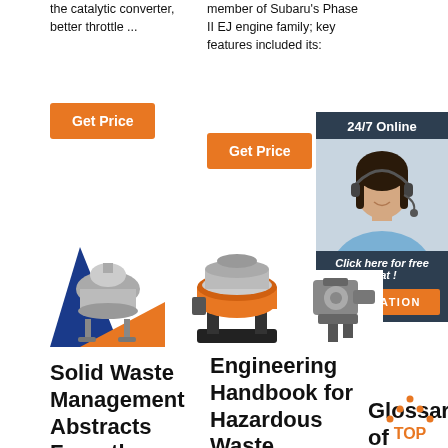the catalytic converter, better throttle ...
member of Subaru's Phase II EJ engine family; key features included its:
[Figure (other): Orange Get Price button (left column)]
[Figure (other): Orange Get Price button (right column)]
[Figure (other): 24/7 Online chat widget with woman wearing headset, 'Click here for free chat!' and QUOTATION button]
[Figure (photo): Industrial sieving/separation machine with blue and orange branding]
[Figure (photo): Industrial orange and black vibrating sieve machine on stand]
[Figure (photo): Industrial mechanical component, partial view]
Solid Waste Management Abstracts From the Literature
Engineering Handbook for Hazardous Waste Incineration
Glossary of underwater diving terminology